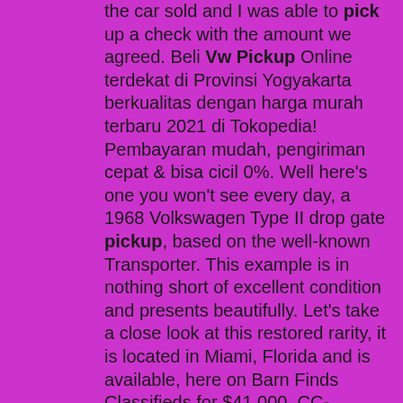the car sold and I was able to pick up a check with the amount we agreed. Beli Vw Pickup Online terdekat di Provinsi Yogyakarta berkualitas dengan harga murah terbaru 2021 di Tokopedia! Pembayaran mudah, pengiriman cepat & bisa cicil 0%. Well here's one you won't see every day, a 1968 Volkswagen Type II drop gate pickup, based on the well-known Transporter. This example is in nothing short of excellent condition and presents beautifully. Let's take a close look at this restored rarity, it is located in Miami, Florida and is available, here on Barn Finds Classifieds for $41,000. CC-1201564. 1984 Volkswagen Pickup. 1984 Volkswagen Doka 3 door pick up, diesel power. 51,000 miles, clean title, body in good condition ... $12,995. Dealership. The 1966 Volkswagen Double Cab Pick-Up - abbreviated as VW DoKa '66 - is a RWD pick-up van by Volkswagen featured in Forza Horizon 4 as part of the Car Pass since January 10, 2019. The Volkswagen Double Cab Pick-Up is a Volkswagen Type 2 with an open pick-up bed designed for commercial use. Rare southern california beach, surf cruiser restored 1968 vw double cab pickup completely rebuilt motorrebuilt transmission, new clutch, bearing, cablesall new brake systemall new interiorbody stripped, repaired, prime painted, sanded, painted, sanded, polishedall new electricalserviced fuel system, new carburetornew tiresnew hubcapsnew. Isuzu NRS 300 Double